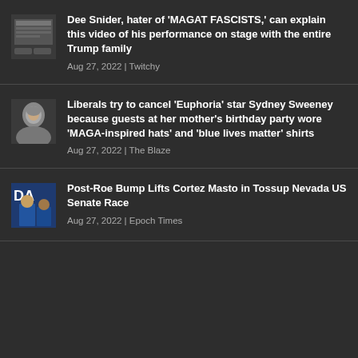Dee Snider, hater of ‘MAGAT FASCISTS,’ can explain this video of his performance on stage with the entire Trump family | Aug 27, 2022 | Twitchy
Liberals try to cancel ‘Euphoria’ star Sydney Sweeney because guests at her mother’s birthday party wore ‘MAGA-inspired hats’ and ‘blue lives matter’ shirts | Aug 27, 2022 | The Blaze
Post-Roe Bump Lifts Cortez Masto in Tossup Nevada US Senate Race | Aug 27, 2022 | Epoch Times